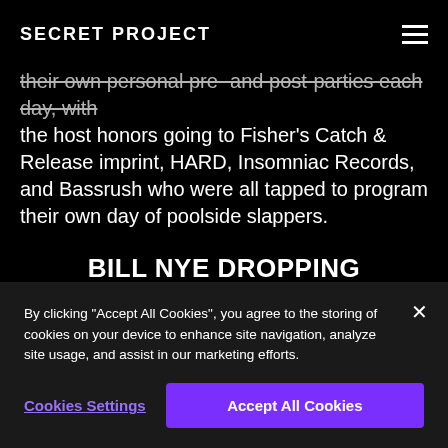SECRET PROJECT
their own personal pre- and post-parties each day, with the host honors going to Fisher's Catch & Release imprint, HARD, Insomniac Records, and Bassrush who were all tapped to program their own day of poolside slappers.
BILL NYE DROPPING KNOWLEDGE DURING OPENING CEREMONY
You remember that super nice and smart dude from your
By clicking "Accept All Cookies", you agree to the storing of cookies on your device to enhance site navigation, analyze site usage, and assist in our marketing efforts.
Cookies Settings
Accept All Cookies